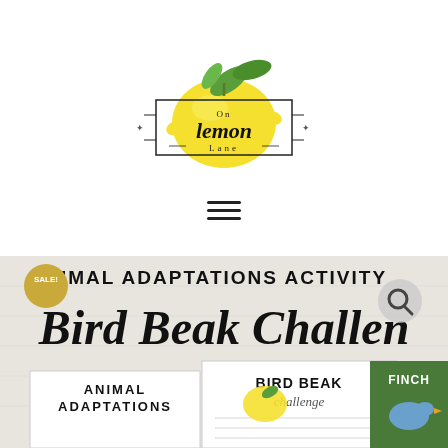[Figure (logo): On Lemon Lane logo: a yellow lemon with green leaves and a decorative rectangle frame with cursive text 'On lemon Lane']
[Figure (illustration): Hamburger menu icon — three horizontal lines]
[Figure (screenshot): Product thumbnail showing 'Animal Adaptations Activity - Bird Beak Challenge' with a SALE! badge, search icon, and scroll-to-top button. Includes text overlays 'ANIMAL ADAPTATIONS ACTIVITY', 'Bird Beak Challenge', 'BIRD BEAK challenge', 'FINCH', and worksheets with a finch bird photo.]